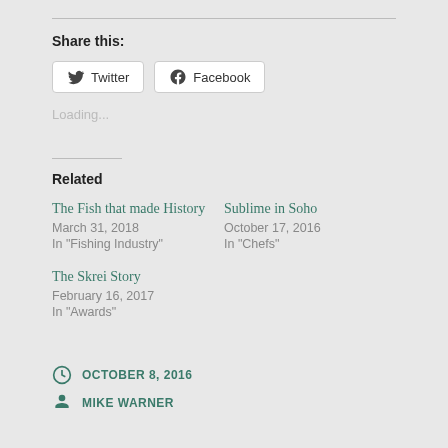Share this:
Twitter   Facebook
Loading...
Related
The Fish that made History
March 31, 2018
In "Fishing Industry"
Sublime in Soho
October 17, 2016
In "Chefs"
The Skrei Story
February 16, 2017
In "Awards"
OCTOBER 8, 2016
MIKE WARNER